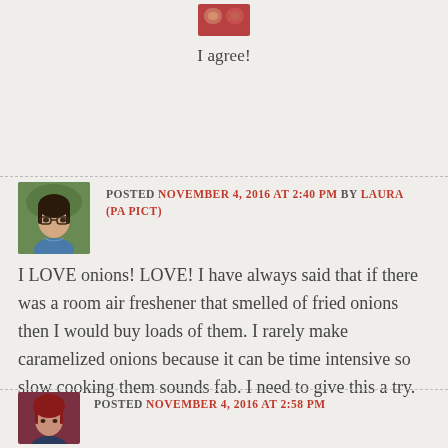[Figure (photo): Small avatar image at top center, partially visible]
I agree!
[Figure (photo): Profile photo of Laura (PA Pict) - woman with glasses]
POSTED NOVEMBER 4, 2016 AT 2:40 PM BY LAURA (PA PICT)
I LOVE onions! LOVE! I have always said that if there was a room air freshener that smelled of fried onions then I would buy loads of them. I rarely make caramelized onions because it can be time intensive so slow cooking them sounds fab. I need to give this a try.
REPLY
[Figure (photo): Profile photo of next commenter - partially visible at bottom]
POSTED NOVEMBER 4, 2016 AT 2:58 PM